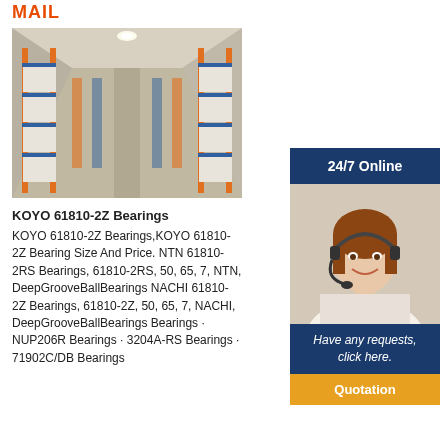MAIL
[Figure (photo): Warehouse interior with tall blue metal shelving racks stocked with white boxes, long aisle visible in background]
KOYO 61810-2Z Bearings
KOYO 61810-2Z Bearings,KOYO 61810-2Z Bearing Size And Price. NTN 61810-2RS Bearings, 61810-2RS, 50, 65, 7, NTN, DeepGrooveBallBearings NACHI 61810-2Z Bearings, 61810-2Z, 50, 65, 7, NACHI, DeepGrooveBallBearings Bearings · NUP206R Bearings · 3204A-RS Bearings · 71902C/DB Bearings
[Figure (infographic): Right panel: dark blue bar with '24/7 Online' text, photo of female customer service agent with headset smiling, dark blue bar with italic text 'Have any requests, click here.', orange button labeled 'Quotation']